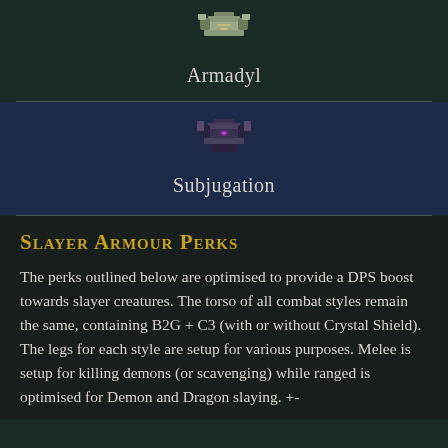[Figure (illustration): Pixel-art icon of Armadyl armour chestplate]
Armadyl
[Figure (illustration): Pixel-art icon of Subjugation armour chestplate]
Subjugation
Slayer Armour Perks
The perks outlined below are optimised to provide a DPS boost towards slayer creatures. The torso of all combat styles remain the same, containing B2G + C3 (with or without Crystal Shield). The legs for each style are setup for various purposes. Melee is setup for killing demons (or scavenging) while ranged is optimised for Demon and Dragon slaying. +-